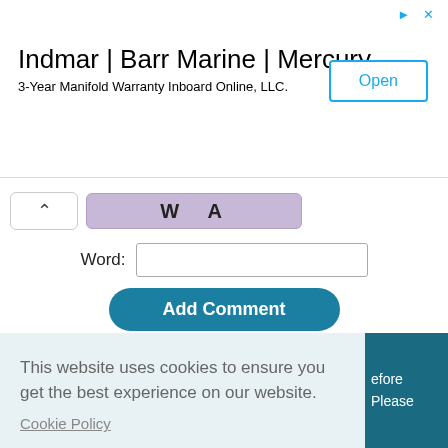[Figure (screenshot): Advertisement banner for Indmar | Barr Marine | Mercury, 3-Year Manifold Warranty Inboard Online, LLC., with an Open button]
[Figure (screenshot): Word input field with collapse arrow button and WA styled button, Add Comment button below]
This website uses cookies to ensure you get the best experience on our website.
Cookie Policy
Got it!
efore Please